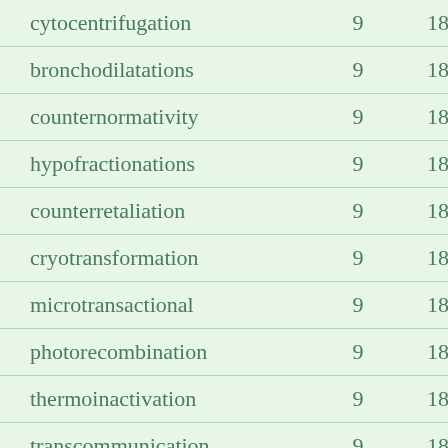| cytocentrifugation | 9 | 18 |
| bronchodilatations | 9 | 18 |
| counternormativity | 9 | 18 |
| hypofractionations | 9 | 18 |
| counterretaliation | 9 | 18 |
| cryotransformation | 9 | 18 |
| microtransactional | 9 | 18 |
| photorecombination | 9 | 18 |
| thermoinactivation | 9 | 18 |
| transcommunication | 9 | 18 |